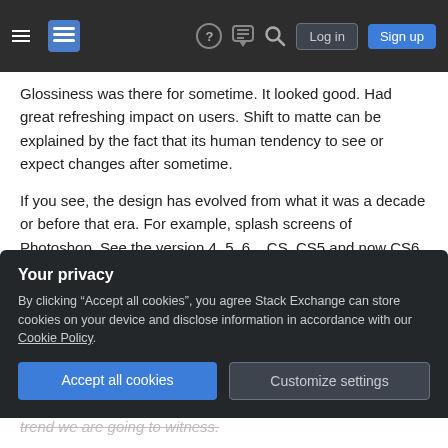Stack Exchange navigation bar with hamburger menu, logo, help, chat, search icons, Log in and Sign up buttons
Glossiness was there for sometime. It looked good. Had great refreshing impact on users. Shift to matte can be explained by the fact that its human tendency to see or expect changes after sometime.
If you see, the design has evolved from what it was a decade or before that era. For example, splash screens of Photoshop. See the version 4, 5, 6 ...CS, CS5 and now CS6. The amount of details (artwork) in the splash screen has been reduced and flatness increased with transparency playing a bigger role.
Your privacy
By clicking "Accept all cookies", you agree Stack Exchange can store cookies on your device and disclose information in accordance with our Cookie Policy.
Accept all cookies
Customize settings
trend we are going to witness.